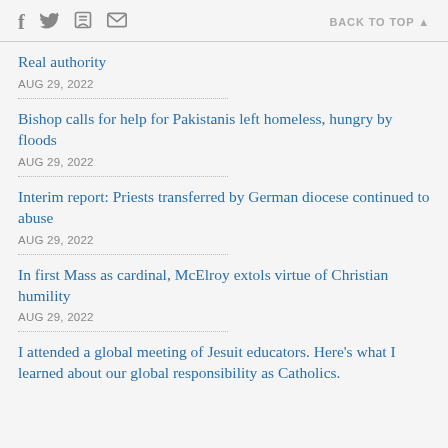f [twitter] [print] [email]   BACK TO TOP ▲
Real authority
AUG 29, 2022
Bishop calls for help for Pakistanis left homeless, hungry by floods
AUG 29, 2022
Interim report: Priests transferred by German diocese continued to abuse
AUG 29, 2022
In first Mass as cardinal, McElroy extols virtue of Christian humility
AUG 29, 2022
I attended a global meeting of Jesuit educators. Here's what I learned about our global responsibility as Catholics.